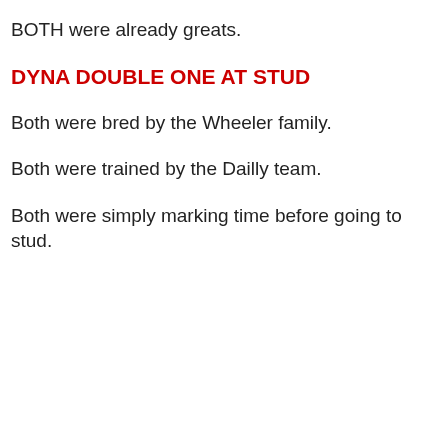BOTH were already greats.
DYNA DOUBLE ONE AT STUD
Both were bred by the Wheeler family.
Both were trained by the Dailly team.
Both were simply marking time before going to stud.